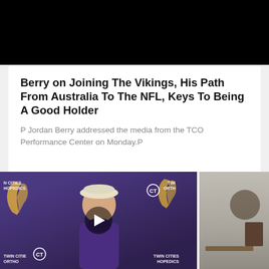[Figure (photo): Black bar at top, likely a video thumbnail or image area shown as solid black]
Berry on Joining The Vikings, His Path From Australia To The NFL, Keys To Being A Good Holder
P Jordan Berry addressed the media from the TCO Performance Center on Monday.P
[Figure (photo): Video thumbnail showing a man wearing a white cap and purple sweatshirt at a Minnesota Vikings press conference background with Viking logos and Twin Cities Orthopedics branding. A play button overlay is visible in the center.]
[Figure (photo): Partially visible second video thumbnail showing a dimly lit indoor scene.]